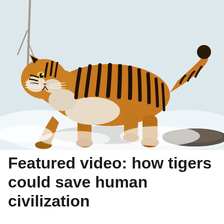[Figure (photo): A tiger walking through a snowy landscape. The tiger has orange fur with black stripes and white markings. It is walking towards the left with one front paw raised. The background shows snow-covered ground and bare branches.]
Featured video: how tigers could save human civilization